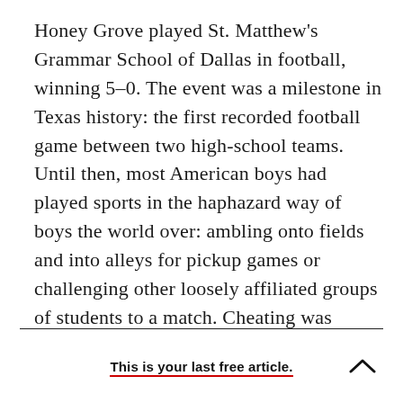Honey Grove played St. Matthew's Grammar School of Dallas in football, winning 5–0. The event was a milestone in Texas history: the first recorded football game between two high-school teams. Until then, most American boys had played sports in the haphazard way of boys the world over: ambling onto fields and into alleys for pickup games or challenging other loosely affiliated groups of students to a match. Cheating was rampant, and games looked more like brawls than organized contests.
This is your last free article.